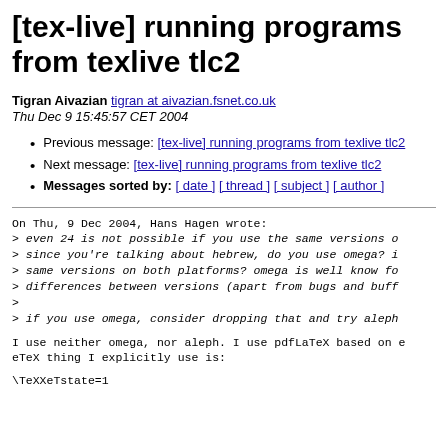[tex-live] running programs from texlive tlc2
Tigran Aivazian tigran at aivazian.fsnet.co.uk
Thu Dec 9 15:45:57 CET 2004
Previous message: [tex-live] running programs from texlive tlc2
Next message: [tex-live] running programs from texlive tlc2
Messages sorted by: [ date ] [ thread ] [ subject ] [ author ]
On Thu, 9 Dec 2004, Hans Hagen wrote:
> even 24 is not possible if you use the same versions o
> since you're talking about hebrew, do you use omega? i
> same versions on both platforms? omega is well know fo
> differences between versions (apart from bugs and buff
>
> if you use omega, consider dropping that and try aleph
I use neither omega, nor aleph. I use pdfLaTeX based on e
eTex thing I explicitly use is:
\TeXXeTstate=1